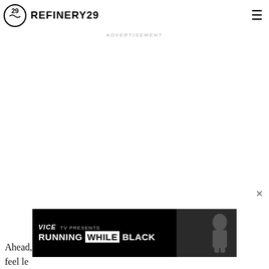transform property: void.
REFINERY29
ADVERTISEMENT
Ahead, ... you feel le...
[Figure (other): Vice TV Presents Running While Black overlay advertisement banner with image of a person]